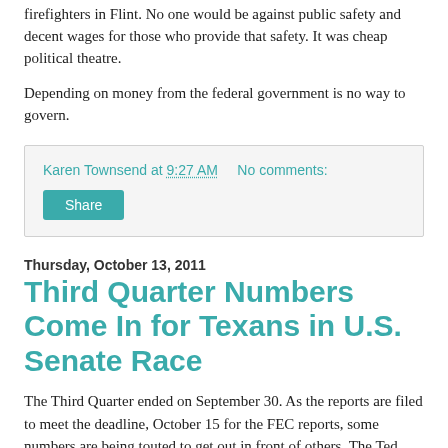firefighters in Flint. No one would be against public safety and decent wages for those who provide that safety. It was cheap political theatre.
Depending on money from the federal government is no way to govern.
Karen Townsend at 9:27 AM    No comments:
Share
Thursday, October 13, 2011
Third Quarter Numbers Come In for Texans in U.S. Senate Race
The Third Quarter ended on September 30. As the reports are filed to meet the deadline, October 15 for the FEC reports, some numbers are being touted to get out in front of others. The Ted Cruz for U.S. Senate campaign released the following Thursday: